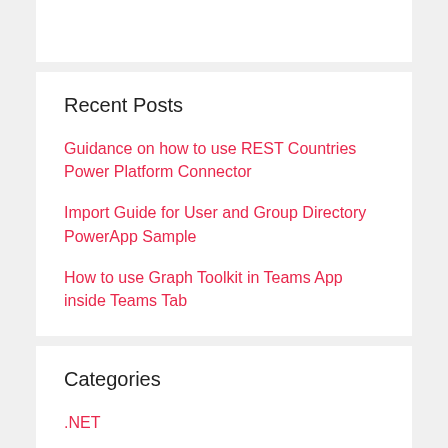Recent Posts
Guidance on how to use REST Countries Power Platform Connector
Import Guide for User and Group Directory PowerApp Sample
How to use Graph Toolkit in Teams App inside Teams Tab
Categories
.NET